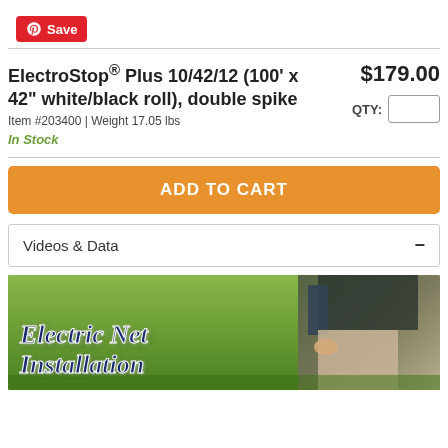[Figure (logo): Pinterest Save button — red rounded rectangle with Pinterest logo and 'Save' text]
ElectroStop® Plus 10/42/12 (100' x 42" white/black roll), double spike
$179.00
QTY:
Item #203400 | Weight 17.05 lbs
In Stock
ADD TO CART
Videos & Data
[Figure (photo): Banner image showing 'Electric Net Installation' text over a photo of a person installing electric netting in a green grassy field]